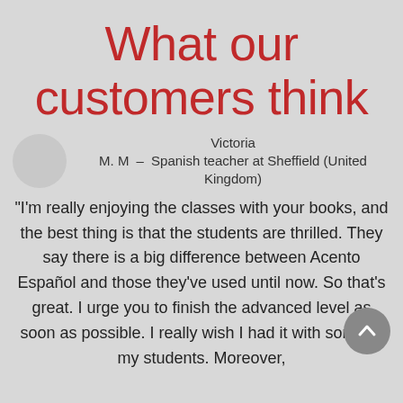What our customers think
Victoria M. M  –  Spanish teacher at Sheffield (United Kingdom)
"I'm really enjoying the classes with your books, and the best thing is that the students are thrilled. They say there is a big difference between Acento Español and those they've used until now. So that's great. I urge you to finish the advanced level as soon as possible. I really wish I had it with some of my students. Moreover,